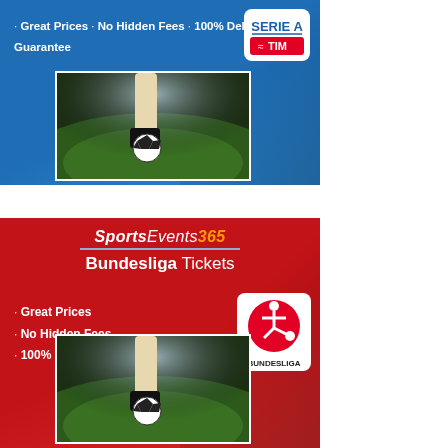[Figure (infographic): Blue banner advertisement for Serie A Tickets by SportsEvents365. Bullet points: Great Prices, No Hidden Fees, 100% Delivery Guarantee. Serie A TIM logo top right. Soccer ball action photo in center.]
[Figure (infographic): Red banner advertisement for Bundesliga Tickets by SportsEvents365. SportsEvents365 logo at top center. Bullet points: Great Prices, No Hidden Fees, 100% Delivery Guarantee. Bundesliga logo on right. Soccer ball action photo at bottom.]